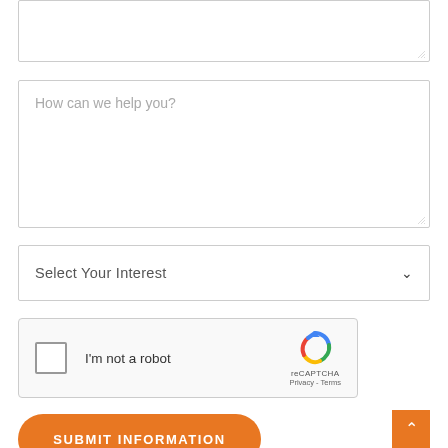[Figure (screenshot): Empty textarea form field (top, partially visible)]
[Figure (screenshot): Textarea form field with placeholder text 'How can we help you?']
[Figure (screenshot): Dropdown select field with label 'Select Your Interest' and chevron icon]
[Figure (screenshot): reCAPTCHA widget with checkbox labeled 'I'm not a robot', reCAPTCHA logo, Privacy and Terms links]
[Figure (screenshot): Orange rounded button labeled 'SUBMIT INFORMATION']
[Figure (screenshot): Orange square back-to-top button with upward chevron arrow, bottom right corner]